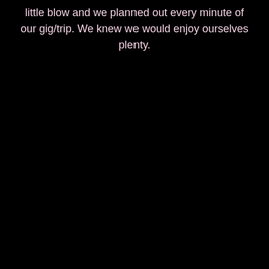little blow and we planned out every minute of our gig/trip. We knew we would enjoy ourselves plenty.